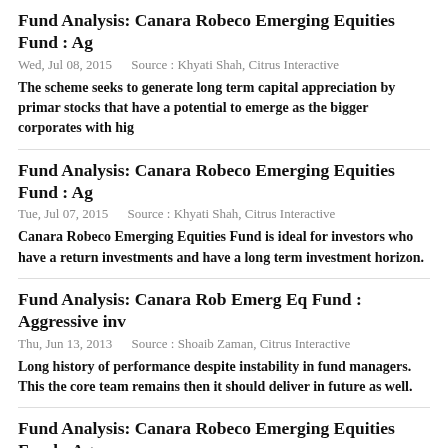Fund Analysis: Canara Robeco Emerging Equities Fund : Ag
Wed, Jul 08, 2015    Source : Khyati Shah, Citrus Interactive
The scheme seeks to generate long term capital appreciation by primar stocks that have a potential to emerge as the bigger corporates with hig
Fund Analysis: Canara Robeco Emerging Equities Fund : Ag
Tue, Jul 07, 2015    Source : Khyati Shah, Citrus Interactive
Canara Robeco Emerging Equities Fund is ideal for investors who have a return investments and have a long term investment horizon.
Fund Analysis: Canara Rob Emerg Eq Fund : Aggressive inv
Thu, Jun 13, 2013    Source : Shoaib Zaman, Citrus Interactive
Long history of performance despite instability in fund managers. This the core team remains then it should deliver in future as well.
Fund Analysis: Canara Robeco Emerging Equities Fund : Ag
Wed, Jun 12, 2013    Source : Shoaib Zaman, Citrus Interactive
Long history of performance despite instability in fund managers. This the core team remains then it should deliver in future as well.